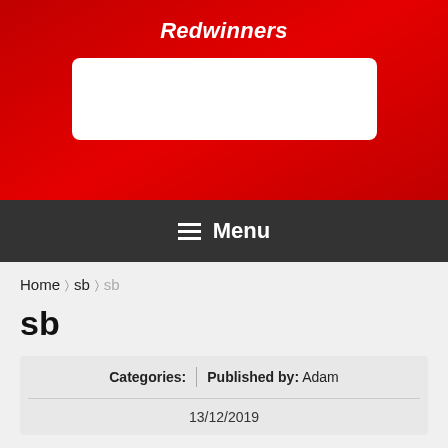Redwinners
[Figure (screenshot): White search box on red background]
Menu
Home > sb > sb
sb
Categories: | Published by: Adam
13/12/2019
[Figure (photo): Solomon Islands flag with blue and green sections, yellow diagonal stripe, and white stars on blue field]